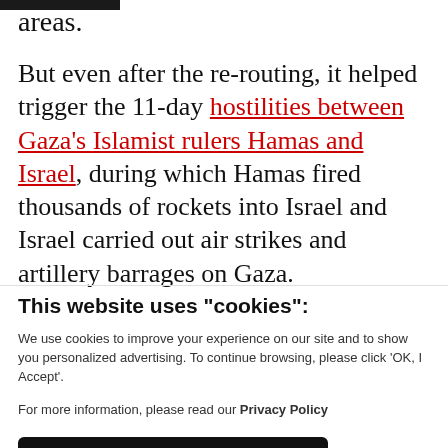areas.
But even after the re-routing, it helped trigger the 11-day hostilities between Gaza's Islamist rulers Hamas and Israel, during which Hamas fired thousands of rockets into Israel and Israel carried out air strikes and artillery barrages on Gaza.
This website uses "cookies":
We use cookies to improve your experience on our site and to show you personalized advertising. To continue browsing, please click ‘OK, I Accept’.
For more information, please read our Privacy Policy
Ok, I Accept